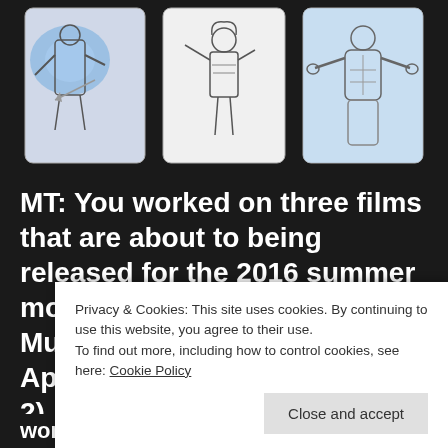[Figure (illustration): Three comic-book style sketch illustrations side by side showing characters: left panel shows a robotic/mechanical figure with blue energy, center panel shows a woman in formal attire, right panel shows a muscular shirtless figure with arms outstretched against a blue sky background.]
MT: You worked on three films that are about to being released for the 2016 summer movie season (Teenager Mutant Ninja Turtles 2, X-Men Apocalypse, Bad Neighours 2). Three different movies in t
Privacy & Cookies: This site uses cookies. By continuing to use this website, you agree to their use.
To find out more, including how to control cookies, see here: Cookie Policy
Close and accept
world. I read a script someone wrote and try to